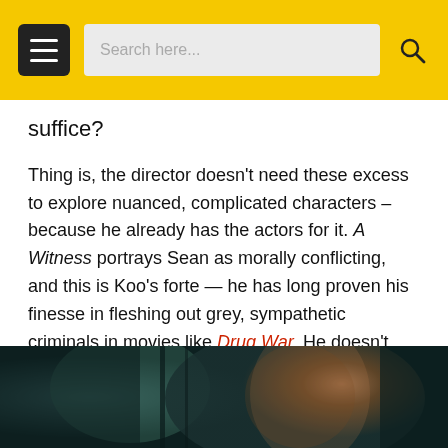Search here...
suffice?
Thing is, the director doesn't need these excess to explore nuanced, complicated characters – because he already has the actors for it. A Witness portrays Sean as morally conflicting, and this is Koo's forte — he has long proven his finesse in fleshing out grey, sympathetic criminals in movies like Drug War. He doesn't need a tacked-on subplot about being insomniac and hallucinating in order to explore his guilt (it takes up quite a bit of his screen time). He's more than capable of showing you that.
[Figure (photo): A man (actor) in a dark, teal-toned scene, appearing to be in a vehicle or dark interior, looking ahead seriously. Film still likely from 'A Witness' or 'Drug War'.]